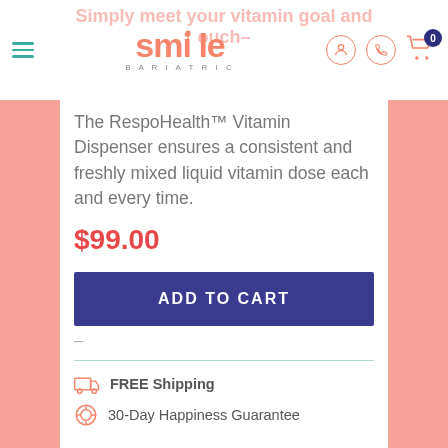Smile Bariatric
The RespoHealth™ Vitamin Dispenser ensures a consistent and freshly mixed liquid vitamin dose each and every time.
$99.00
ADD TO CART
FREE Shipping
30-Day Happiness Guarantee